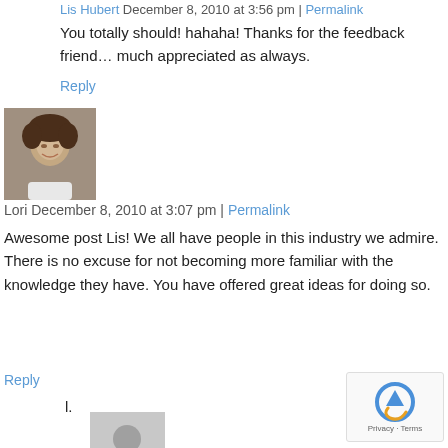Lis Hubert December 8, 2010 at 3:56 pm | Permalink
You totally should! hahaha! Thanks for the feedback friend… much appreciated as always.
Reply
[Figure (photo): Profile photo of a woman with curly dark hair, smiling, wearing a white outfit]
Lori December 8, 2010 at 3:07 pm | Permalink
Awesome post Lis! We all have people in this industry we admire. There is no excuse for not becoming more familiar with the knowledge they have. You have offered great ideas for doing so.
Reply
l.
[Figure (photo): Default grey avatar placeholder with silhouette of a person]
[Figure (other): reCAPTCHA widget showing Privacy and Terms]